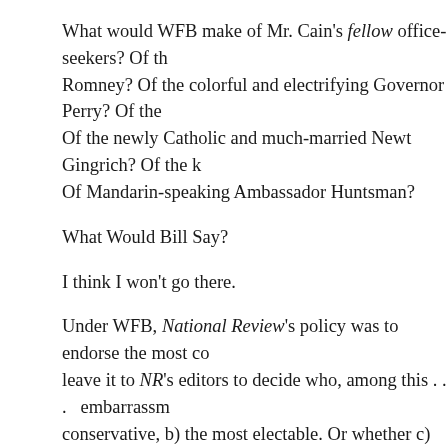What would WFB make of Mr. Cain's fellow office-seekers? Of the Romney? Of the colorful and electrifying Governor Perry? Of the Of the newly Catholic and much-married Newt Gingrich? Of the Of Mandarin-speaking Ambassador Huntsman?
What Would Bill Say?
I think I won't go there.
Under WFB, National Review's policy was to endorse the most co leave it to NR's editors to decide who, among this . . .  embarrassm conservative, b) the most electable. Or whether c) we should, as C the whole thing off.
Shortly before he died, Pup was asked what he made of the curren that it was in need of "re-pristination."
Only Pup would have put it quite that way. But it's not just conser today. Technology, cable television, the Internet, and the 24/7 new Republic into a cacophonous hive. De Tocqueville accurately pred bureaucracy would ultimately conspire to create a thicket of comp